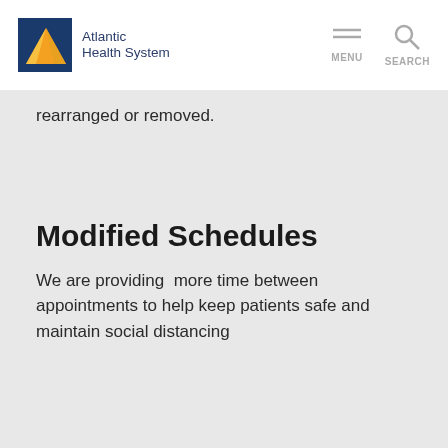Atlantic Health System
rearranged or removed.
Modified Schedules
We are providing  more time between appointments to help keep patients safe and maintain social distancing